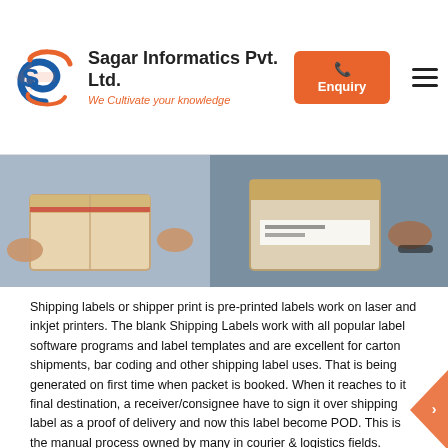Sagar Informatics Pvt. Ltd. — We Cultivate your knowledge
[Figure (photo): Two photos side by side showing hands handling shipping boxes/packages]
Shipping labels or shipper print is pre-printed labels work on laser and inkjet printers. The blank Shipping Labels work with all popular label software programs and label templates and are excellent for carton shipments, bar coding and other shipping label uses. That is being generated on first time when packet is booked. When it reaches to it final destination, a receiver/consignee have to sign it over shipping label as a proof of delivery and now this label become POD. This is the manual process owned by many in courier & logistics fields.
Now let's understand e-pod when the above said process is carried out with the help of smart mobile or PDA (Personal digital assistant is a term for a small, mobile, handheld device that provides computing and information storage and retrieval capabilities for personal or business) that capture the signature on the device directly by courier executive at time of delivery, this allow the condition, solving of